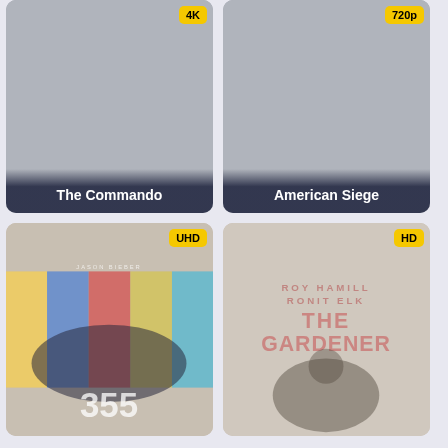[Figure (screenshot): Movie card for 'The Commando' with a gray placeholder poster and a badge (partially visible, appears to be '4K' or similar) in top-right corner, title overlay at bottom]
[Figure (screenshot): Movie card for 'American Siege' with a gray placeholder poster and '720p' badge in top-right corner, title overlay at bottom]
[Figure (screenshot): Movie card for '355' with a colorful movie poster showing agents in front of flags, with 'UHD' badge in top-right corner]
[Figure (screenshot): Movie card for 'The Gardener' with a movie poster showing 'THE GARDENER' text and actors, with 'HD' badge in top-right corner]